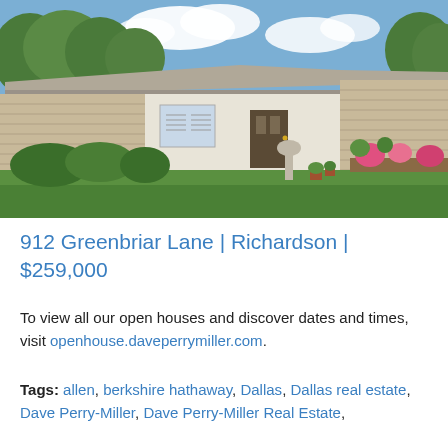[Figure (photo): Exterior photo of a single-story brick ranch-style house at 912 Greenbriar Lane, Richardson. The house features a large green lawn, brick facade, white paneling, shrubs and flower beds, and trees in the background under a partly cloudy sky.]
912 Greenbriar Lane | Richardson | $259,000
To view all our open houses and discover dates and times, visit openhouse.daveperrymiller.com.
Tags: allen, berkshire hathaway, Dallas, Dallas real estate, Dave Perry-Miller, Dave Perry-Miller Real Estate,